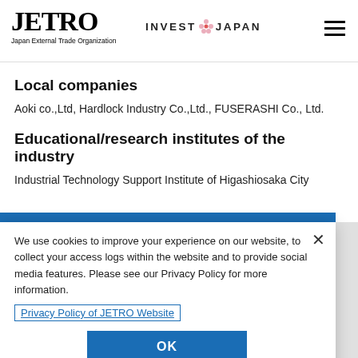JETRO Japan External Trade Organization | INVEST JAPAN
Local companies
Aoki co.,Ltd, Hardlock Industry Co.,Ltd., FUSERASHI Co., Ltd.
Educational/research institutes of the industry
Industrial Technology Support Institute of Higashiosaka City
We use cookies to improve your experience on our website, to collect your access logs within the website and to provide social media features. Please see our Privacy Policy for more information.
Privacy Policy of JETRO Website
OK